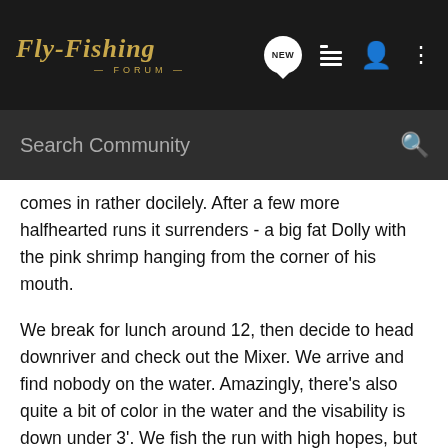Fly-Fishing Forum — Search Community
comes in rather docilely. After a few more halfhearted runs it surrenders - a big fat Dolly with the pink shrimp hanging from the corner of his mouth.
We break for lunch around 12, then decide to head downriver and check out the Mixer. We arrive and find nobody on the water. Amazingly, there's also quite a bit of color in the water and the visability is down under 3'. We fish the run with high hopes, but neither of us connects and we quit around 4.
As we were leaving I stopped in to see a BC friend down for the week and got the report that Dec Hogan's client, who was also fishing the upper river above Rockport, had gotten a Steelhead. There are a few fish in the river right now - Very Few. Guides around the Howard Miller park is optimistic that this latest pulse